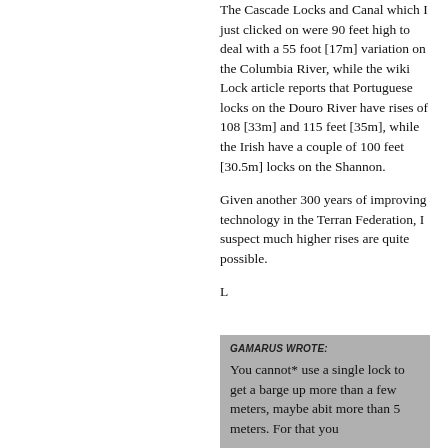The Cascade Locks and Canal which I just clicked on were 90 feet high to deal with a 55 foot [17m] variation on the Columbia River, while the wiki Lock article reports that Portuguese locks on the Douro River have rises of 108 [33m] and 115 feet [35m], while the Irish have a couple of 100 feet [30.5m] locks on the Shannon.
Given another 300 years of improving technology in the Terran Federation, I suspect much higher rises are quite possible.
L
GAMARUS WROTE: You cannot* use a single lock to get a barge up more than a few meters, maybe abit more than 5 meters. For that you